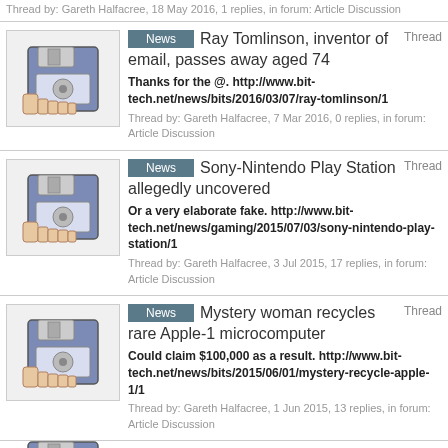Thread by: Gareth Halfacree, 18 May 2016, 1 replies, in forum: Article Discussion
News | Ray Tomlinson, inventor of email, passes away aged 74 | Thread
Thanks for the @. http://www.bit-tech.net/news/bits/2016/03/07/ray-tomlinson/1
Thread by: Gareth Halfacree, 7 Mar 2016, 0 replies, in forum: Article Discussion
News | Sony-Nintendo Play Station allegedly uncovered | Thread
Or a very elaborate fake. http://www.bit-tech.net/news/gaming/2015/07/03/sony-nintendo-play-station/1
Thread by: Gareth Halfacree, 3 Jul 2015, 17 replies, in forum: Article Discussion
News | Mystery woman recycles rare Apple-1 microcomputer | Thread
Could claim $100,000 as a result. http://www.bit-tech.net/news/bits/2015/06/01/mystery-recycle-apple-1/1
Thread by: Gareth Halfacree, 1 Jun 2015, 13 replies, in forum: Article Discussion
News | TNMOC to record, publish | Thread